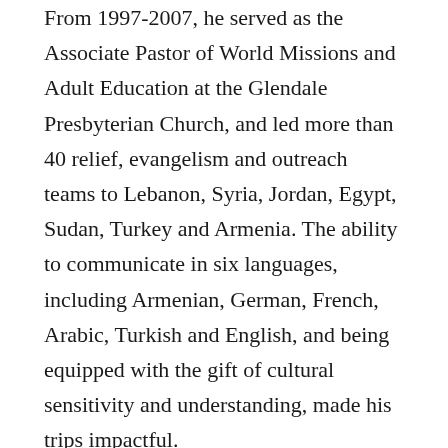From 1997-2007, he served as the Associate Pastor of World Missions and Adult Education at the Glendale Presbyterian Church, and led more than 40 relief, evangelism and outreach teams to Lebanon, Syria, Jordan, Egypt, Sudan, Turkey and Armenia. The ability to communicate in six languages, including Armenian, German, French, Arabic, Turkish and English, and being equipped with the gift of cultural sensitivity and understanding, made his trips impactful.
From 2005-2008, Rev. Berdj made several trips to Sudan delivering relief to Darfurian Genocide survivors. He was instrumental in building the largest church on the eastern side of the Nile River. After the 1988 earthquake in Armenia, he made more than 25 trips to